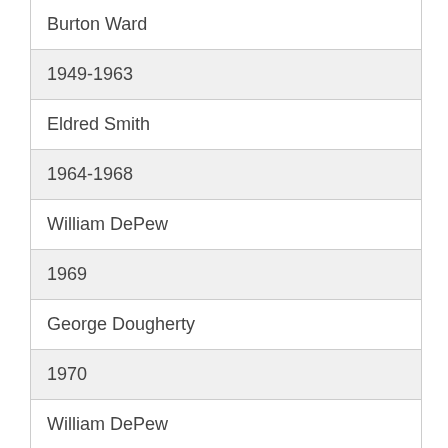Burton Ward
1949-1963
Eldred Smith
1964-1968
William DePew
1969
George Dougherty
1970
William DePew
1971-1972
George Dougherty